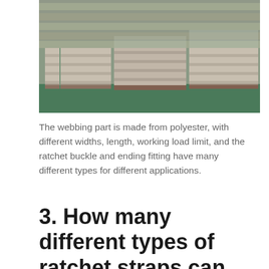[Figure (photo): Warehouse shelving with stacked pallets of wrapped goods, industrial setting with green floor visible]
The webbing part is made from polyester, with different widths, length, working load limit, and the ratchet buckle and ending fitting have many different types for different applications.
3. How many different types of ratchet straps can you supply?